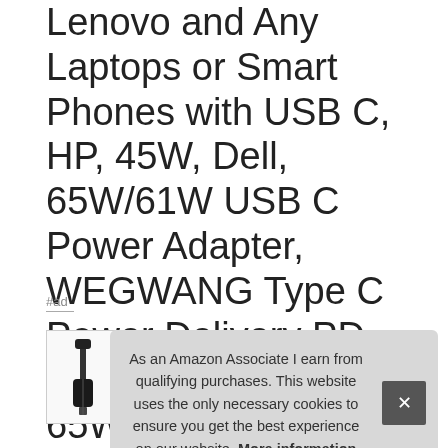Lenovo and Any Laptops or Smart Phones with USB C, HP, 45W, Dell, 65W/61W USB C Power Adapter, WEGWANG Type C Power Delivery PD Wall Charger 65WCompatible 61W, 30W and 12W for MacBook Pro Air 2018
#ad
[Figure (photo): Partial product thumbnail showing a USB-C power adapter/charger with cable, white background]
As an Amazon Associate I earn from qualifying purchases. This website uses the only necessary cookies to ensure you get the best experience on our website. More information